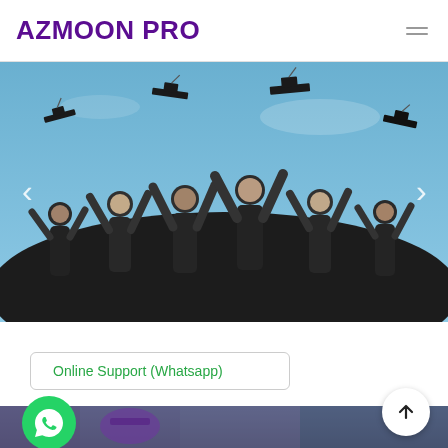AZMOON PRO
[Figure (photo): Graduation photo showing multiple students in black graduation gowns tossing their mortarboard caps into the sky against a bright blue sky background, with left and right navigation chevrons overlaid.]
Online Support (Whatsapp)
[Figure (photo): Bottom portion of a crowd photo with a WhatsApp icon (green circle with phone handset) in the lower left and a scroll-to-top arrow button (white circle with upward arrow) in the lower right.]